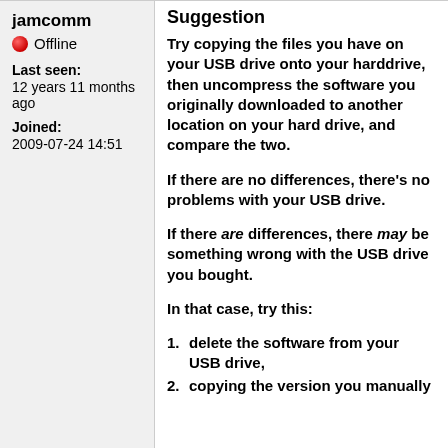jamcomm
Offline
Last seen: 12 years 11 months ago
Joined: 2009-07-24 14:51
Suggestion
Try copying the files you have on your USB drive onto your harddrive, then uncompress the software you originally downloaded to another location on your hard drive, and compare the two.
If there are no differences, there's no problems with your USB drive.
If there are differences, there may be something wrong with the USB drive you bought.
In that case, try this:
delete the software from your USB drive,
copying the version you manually